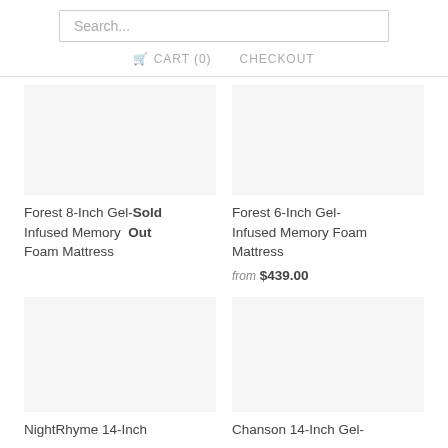Search...
CART (0)  CHECKOUT
Forest 8-Inch Gel-Infused Memory Foam Mattress  Sold Out
Forest 6-Inch Gel-Infused Memory Foam Mattress  from $439.00
NightRhyme 14-Inch
Chanson 14-Inch Gel-